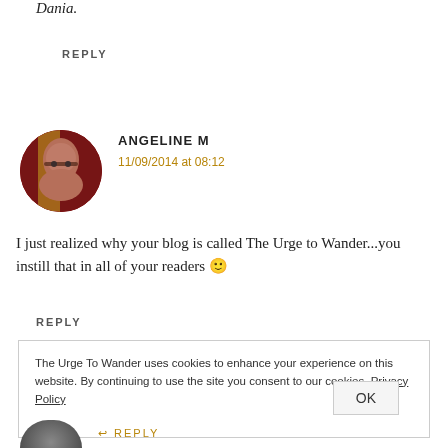Dania.
REPLY
[Figure (photo): Circular avatar photo of Angeline M, a woman with dark hair and glasses against a reddish background]
ANGELINE M
11/09/2014 at 08:12
I just realized why your blog is called The Urge to Wander...you instill that in all of your readers 🙂
REPLY
The Urge To Wander uses cookies to enhance your experience on this website. By continuing to use the site you consent to our cookies. Privacy Policy
OK